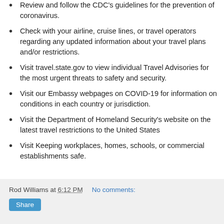Review and follow the CDC's guidelines for the prevention of coronavirus.
Check with your airline, cruise lines, or travel operators regarding any updated information about your travel plans and/or restrictions.
Visit travel.state.gov to view individual Travel Advisories for the most urgent threats to safety and security.
Visit our Embassy webpages on COVID-19 for information on conditions in each country or jurisdiction.
Visit the Department of Homeland Security's website on the latest travel restrictions to the United States
Visit Keeping workplaces, homes, schools, or commercial establishments safe.
Rod Williams at 6:12 PM   No comments:  Share